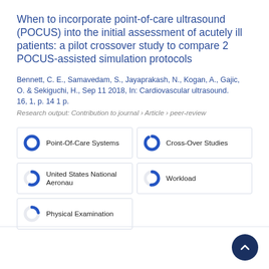When to incorporate point-of-care ultrasound (POCUS) into the initial assessment of acutely ill patients: a pilot crossover study to compare 2 POCUS-assisted simulation protocols
Bennett, C. E., Samavedam, S., Jayaprakash, N., Kogan, A., Gajic, O. & Sekiguchi, H., Sep 11 2018, In: Cardiovascular ultrasound. 16, 1, p. 14 1 p.
Research output: Contribution to journal › Article › peer-review
Point-Of-Care Systems
Cross-Over Studies
United States National Aeronau
Workload
Physical Examination